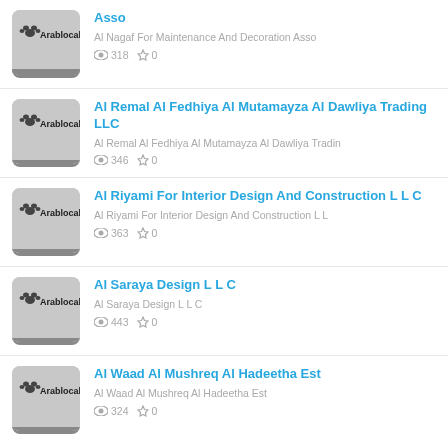Asso | Al Nagaf For Maintenance And Decoration Asso | views: 318 | stars: 0
Al Remal Al Fedhiya Al Mutamayza Al Dawliya Trading LLC | Al Remal Al Fedhiya Al Mutamayza Al Dawliya Tradin | views: 346 | stars: 0
Al Riyami For Interior Design And Construction L L C | Al Riyami For Interior Design And Construction L L | views: 363 | stars: 0
Al Saraya Design L L C | Al Saraya Design L L C | views: 443 | stars: 0
Al Waad Al Mushreq Al Hadeetha Est | Al Waad Al Mushreq Al Hadeetha Est | views: 324 | stars: 0